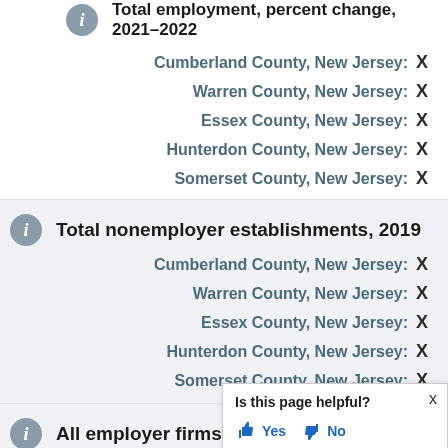Total employment, percent change, 2021-2022
Cumberland County, New Jersey: X
Warren County, New Jersey: X
Essex County, New Jersey: X
Hunterdon County, New Jersey: X
Somerset County, New Jersey: X
Total nonemployer establishments, 2019
Cumberland County, New Jersey: X
Warren County, New Jersey: X
Essex County, New Jersey: X
Hunterdon County, New Jersey: X
Somerset County, New Jersey: X
All employer firms, Reference year
Cumberland County, New Jersey: X
Is this page helpful? Yes No